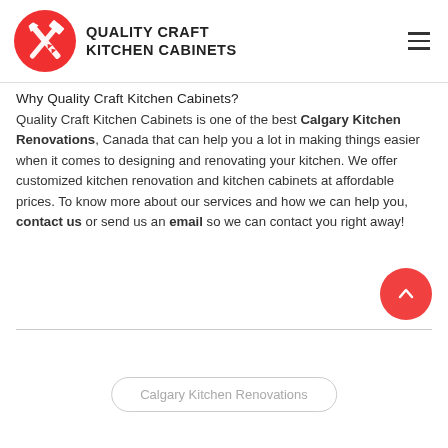[Figure (logo): Quality Craft Kitchen Cabinets logo: red circle with crossed tools (saw and putty knife) in white, with brand name text to the right in bold uppercase]
Why Quality Craft Kitchen Cabinets?
Quality Craft Kitchen Cabinets is one of the best Calgary Kitchen Renovations, Canada that can help you a lot in making things easier when it comes to designing and renovating your kitchen. We offer customized kitchen renovation and kitchen cabinets at affordable prices. To know more about our services and how we can help you, contact us or send us an email so we can contact you right away!
Calgary Kitchen Renovations